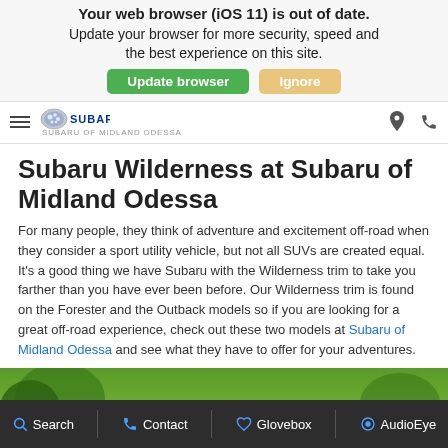Your web browser (iOS 11) is out of date. Update your browser for more security, speed and the best experience on this site. [Update browser] [Ignore]
SUBARU OF MIDLAND ODESSA
Subaru Wilderness at Subaru of Midland Odessa
For many people, they think of adventure and excitement off-road when they consider a sport utility vehicle, but not all SUVs are created equal. It's a good thing we have Subaru with the Wilderness trim to take you farther than you have ever been before. Our Wilderness trim is found on the Forester and the Outback models so if you are looking for a great off-road experience, check out these two models at Subaru of Midland Odessa and see what they have to offer for your adventures.
[Figure (photo): Blue Subaru SUV parked on a green hillside off-road trail with trees in background]
Search  Contact  Glovebox  AudioEye